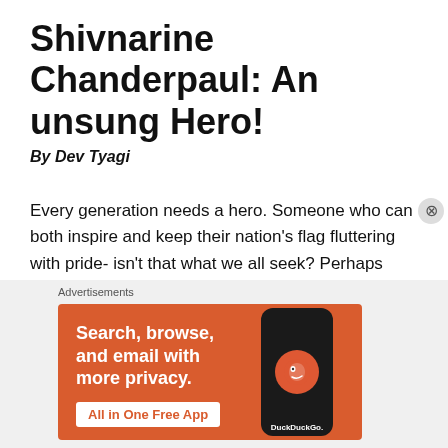Shivnarine Chanderpaul: An unsung Hero!
By Dev Tyagi
Every generation needs a hero. Someone who can both inspire and keep their nation's flag fluttering with pride- isn't that what we all seek? Perhaps more so in sport where you get a chance to blaze a trail for others to follow. Yet, there are some heroes who never truly get the credit they so deserve. Heroes who don't get talked about often, winners you don't hear salutations sung for despite
[Figure (other): DuckDuckGo advertisement banner with orange background showing 'Search, browse, and email with more privacy. All in One Free App' text alongside a phone graphic with DuckDuckGo logo]